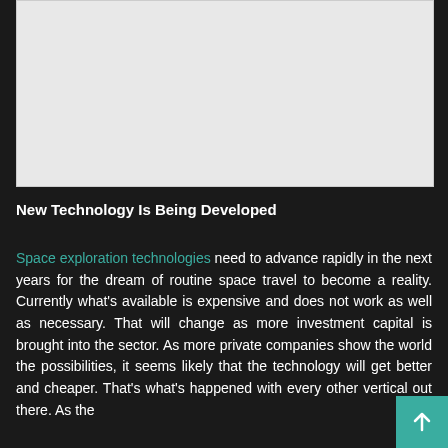[Figure (photo): Large light gray image placeholder at the top of the page]
New Technology Is Being Developed
Space exploration technologies need to advance rapidly in the next years for the dream of routine space travel to become a reality. Currently what's available is expensive and does not work as well as necessary. That will change as more investment capital is brought into the sector. As more private companies show the world the possibilities, it seems likely that the technology will get better and cheaper. That's what's happened with every other vertical out there. As the